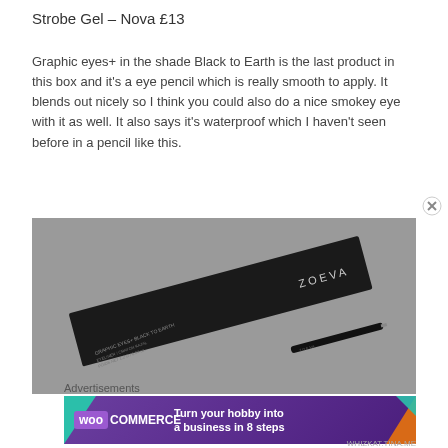Strobe Gel – Nova £13
Graphic eyes+ in the shade Black to Earth is the last product in this box and it's a eye pencil which is really smooth to apply. It blends out nicely so I think you could also do a nice smokey eye with it as well. It also says it's waterproof which I haven't seen before in a pencil like this.
[Figure (photo): A ZOEVA Graphic Eyes+ eyeliner pencil in shade Black to Earth photographed on a grey textured carpet surface. The pencil packaging reads 'GRAPHIC EYES+ BLACK TO EARTH / EYELINER / CRAYON KAJAL / POIDS NET 1.2 G / 0.04 OZ.' and shows the ZOEVA brand name.]
Advertisements
[Figure (infographic): WooCommerce advertisement banner with purple background, teal triangle at left, orange/teal shapes at right, WooCommerce logo and text 'Turn your hobby into a business in 8 steps']